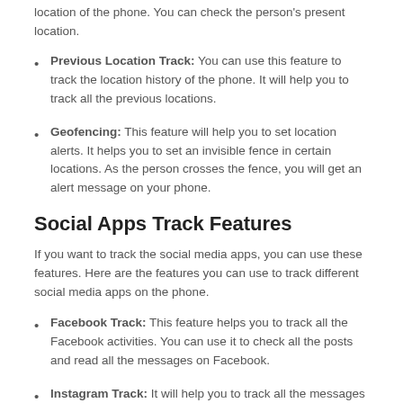location of the phone. You can check the person's present location.
Previous Location Track: You can use this feature to track the location history of the phone. It will help you to track all the previous locations.
Geofencing: This feature will help you to set location alerts. It helps you to set an invisible fence in certain locations. As the person crosses the fence, you will get an alert message on your phone.
Social Apps Track Features
If you want to track the social media apps, you can use these features. Here are the features you can use to track different social media apps on the phone.
Facebook Track: This feature helps you to track all the Facebook activities. You can use it to check all the posts and read all the messages on Facebook.
Instagram Track: It will help you to track all the messages on Instagram. You can check all the posts on Instagram.
Twitter Track: You can use this feature to track all the